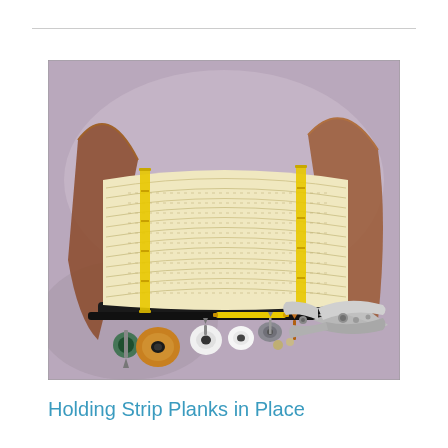[Figure (photo): Photograph of a bundle of strip planks (light yellow/cream colored wooden strips) held together with yellow straps, resting on what appears to be a boat hull form. In front of the bundle are various fasteners including screws, washers, and nails, along with a pair of locking pliers/vise grips. The background is a muted purple-grey.]
Holding Strip Planks in Place